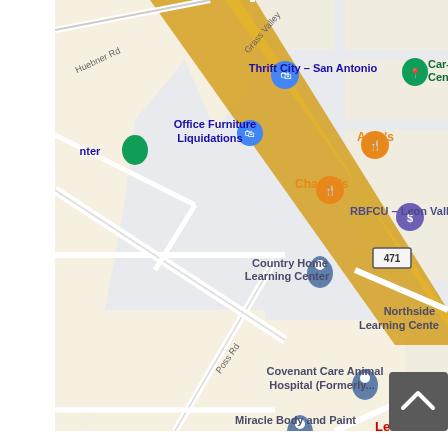[Figure (map): Google Maps view of Leon Valley / San Antonio area showing streets including Huebner Rd, Grass Valley, Poss Rd, and Highway 471. Points of interest labeled include: Thrift City - San Antonio, Car-Vel Center, Office Furniture Liquidations, Arby's, Chacho's, RBFCU - Leon Valley, Country Home Learning Center, Northside Learning Center, Covenant Care Animal Hospital (Formerly...), Miracle Body and Paint. A diagonal highway (yellow/gold) runs through the upper portion of the map. A scroll-to-top button (dark gray with white chevron) is in the bottom-right corner.]